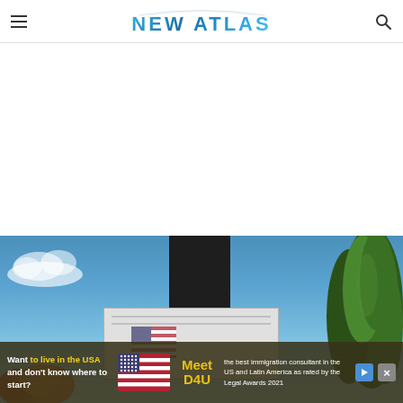NEW ATLAS
[Figure (photo): Billboard structure against a blue sky with trees on the right and autumn foliage on the lower left. A large dark rectangular panel is mounted on top of the billboard. A white billboard body is visible below the dark panel.]
Want to live in the USA and don't know where to start? Meet D4U the best immigration consultant in the US and Latin America as rated by the Legal Awards 2021